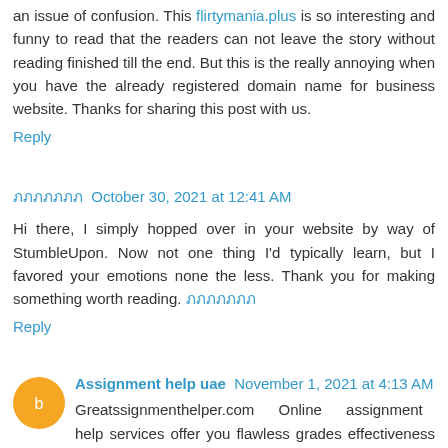an issue of confusion. This flirtymania.plus is so interesting and funny to read that the readers can not leave the story without reading finished till the end. But this is the really annoying when you have the already registered domain name for business website. Thanks for sharing this post with us.
Reply
ภภภภภภภ  October 30, 2021 at 12:41 AM
Hi there, I simply hopped over in your website by way of StumbleUpon. Now not one thing I'd typically learn, but I favored your emotions none the less. Thank you for making something worth reading. ภภภภภภภ
Reply
Assignment help uae  November 1, 2021 at 4:13 AM
Greatssignmenthelper.com Online assignment help services offer you flawless grades effectiveness at the most